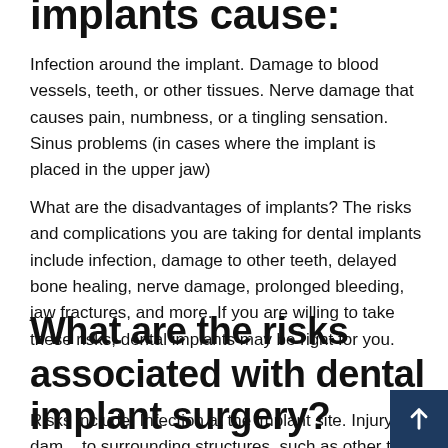implants cause:
Infection around the implant. Damage to blood vessels, teeth, or other tissues. Nerve damage that causes pain, numbness, or a tingling sensation. Sinus problems (in cases where the implant is placed in the upper jaw)
What are the disadvantages of implants? The risks and complications you are taking for dental implants include infection, damage to other teeth, delayed bone healing, nerve damage, prolonged bleeding, jaw fractures, and more. If you are willing to take these risks, dental implants may be right for you.
What are the risks associated with dental implant surgery?
Risks include: Infection at the implant site. Injury or damage to surrounding structures, such as other teeth or blood